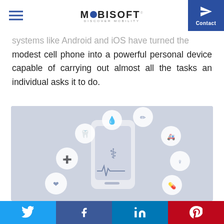MOBISOFT — DISCOVER MOBILITY | Contact
systems like Android and iOS have turned the modest cell phone into a powerful personal device capable of carrying out almost all the tasks an individual asks it to do.
[Figure (illustration): Medical mobile app illustration showing a smartphone with medical/health icons around it including a tooth, first aid kit, heart rate, blood drop, pill, ambulance, stethoscope, and medical symbol on a blue-grey background.]
The smartphone market has grown by leaps and
Twitter | Facebook | LinkedIn | Pinterest